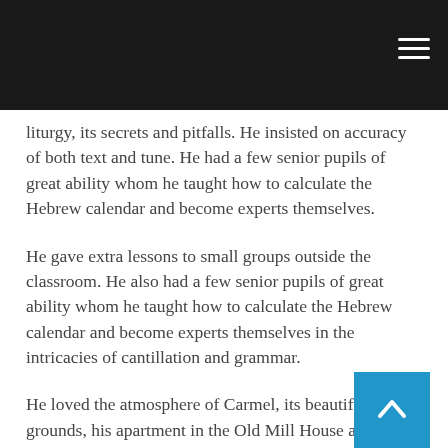liturgy, its secrets and pitfalls. He insisted on accuracy of both text and tune. He had a few senior pupils of great ability whom he taught how to calculate the Hebrew calendar and become experts themselves.
He gave extra lessons to small groups outside the classroom. He also had a few senior pupils of great ability whom he taught how to calculate the Hebrew calendar and become experts themselves in the intricacies of cantillation and grammar.
He loved the atmosphere of Carmel, its beautiful grounds, his apartment in the Old Mill House above a trout stream that flowed down into the River Thames. He relished the Friday evening discussions that Jewish members of staff enjoyed in the headmaster's house. His expertise in so many fields, as well as his wit and humor, were respected and sought. It must have been a welcome respite from the lack of respect